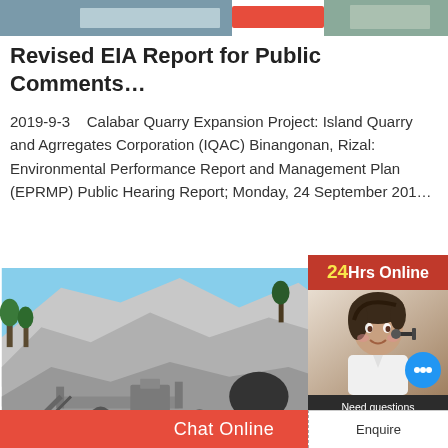[Figure (photo): Top banner with partial image of quarry/landscape and a red highlight bar]
Revised EIA Report for Public Comments…
2019-9-3    Calabar Quarry Expansion Project: Island Quarry and Agrregates Corporation (IQAC) Binangonan, Rizal: Environmental Performance Report and Management Plan (EPRMP) Public Hearing Report; Monday, 24 September 201…
[Figure (photo): Quarry site with machinery, rock face, and industrial equipment]
[Figure (photo): 24Hrs Online chat support advertisement with a female customer service representative wearing a headset, chat bubble, and Chat Now button]
Need questions & suggestion?
Chat Now
Chat Online
Enquire